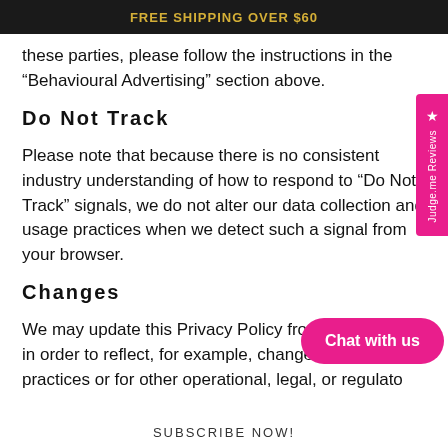FREE SHIPPING OVER $60
these parties, please follow the instructions in the “Behavioural Advertising” section above.
Do Not Track
Please note that because there is no consistent industry understanding of how to respond to “Do Not Track” signals, we do not alter our data collection and usage practices when we detect such a signal from your browser.
Changes
We may update this Privacy Policy from time to time in order to reflect, for example, changes to our practices or for other operational, legal, or regulato
SUBSCRIBE NOW!